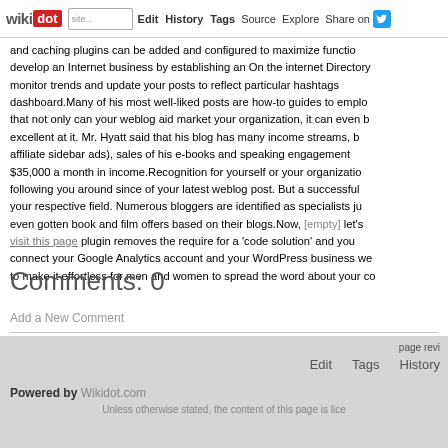wikidot | site | Edit | History | Tags | Source | Explore | Share on [Twitter]
and caching plugins can be added and configured to maximize functio... develop an Internet business by establishing an On the internet Directory... monitor trends and update your posts to reflect particular hashtags... dashboard.Many of his most well-liked posts are how-to guides to emplo... that not only can your weblog aid market your organization, it can even b... excellent at it. Mr. Hyatt said that his blog has many income streams, ... affiliate sidebar ads), sales of his e-books and speaking engagement... $35,000 a month in income.Recognition for yourself or your organizatio... following you around since of your latest weblog post. But a successful... your respective field. Numerous bloggers are identified as specialists ju... even gotten book and film offers based on their blogs.Now, [empty] let's... visit this page plugin removes the require for a 'code solution' and you... connect your Google Analytics account and your WordPress business we... to make it effortless for men and women to spread the word about your c...
Comments: 0
Add a New Comment
page revi | Edit | Tags | History
Powered by Wikidot.com | Unless otherwise stated, the content of this page is lice...